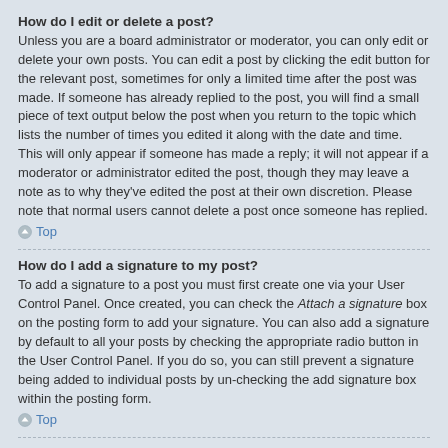How do I edit or delete a post?
Unless you are a board administrator or moderator, you can only edit or delete your own posts. You can edit a post by clicking the edit button for the relevant post, sometimes for only a limited time after the post was made. If someone has already replied to the post, you will find a small piece of text output below the post when you return to the topic which lists the number of times you edited it along with the date and time. This will only appear if someone has made a reply; it will not appear if a moderator or administrator edited the post, though they may leave a note as to why they've edited the post at their own discretion. Please note that normal users cannot delete a post once someone has replied.
Top
How do I add a signature to my post?
To add a signature to a post you must first create one via your User Control Panel. Once created, you can check the Attach a signature box on the posting form to add your signature. You can also add a signature by default to all your posts by checking the appropriate radio button in the User Control Panel. If you do so, you can still prevent a signature being added to individual posts by un-checking the add signature box within the posting form.
Top
How do I create a poll?
When posting a new topic or editing the first post of a topic, click the “Poll creation” tab below the main posting form; if you cannot see this, you do not have appropriate permissions to create polls. Enter a title and at least two